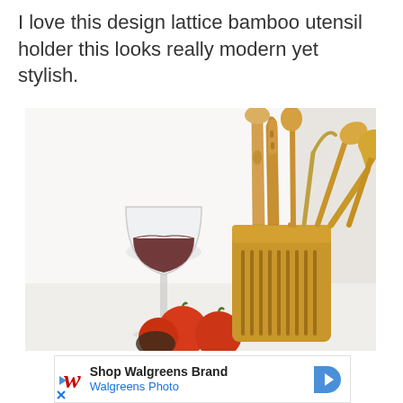I love this design lattice bamboo utensil holder this looks really modern yet stylish.
[Figure (photo): A bamboo utensil holder with slotted lattice design filled with various bamboo cooking utensils (spatulas, spoons), a wine glass with red wine, and red tomatoes on a white surface.]
[Figure (other): Advertisement banner for Walgreens Brand - Shop Walgreens Brand, Walgreens Photo, with Walgreens W logo and navigation arrow icon.]